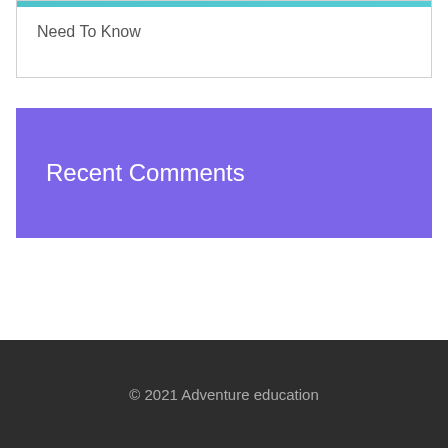Need To Know
Recent Comments
© 2021 Adventure education